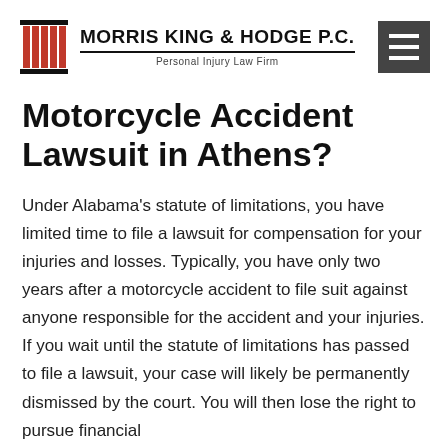MORRIS KING & HODGE P.C. — Personal Injury Law Firm
Motorcycle Accident Lawsuit in Athens?
Under Alabama's statute of limitations, you have limited time to file a lawsuit for compensation for your injuries and losses. Typically, you have only two years after a motorcycle accident to file suit against anyone responsible for the accident and your injuries. If you wait until the statute of limitations has passed to file a lawsuit, your case will likely be permanently dismissed by the court. You will then lose the right to pursue financial